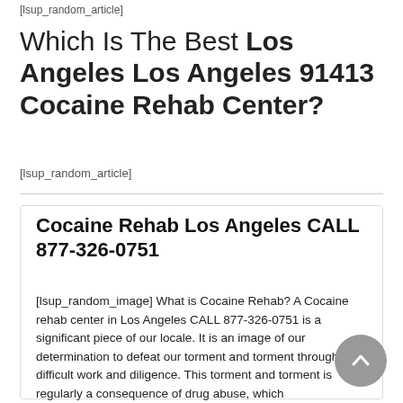[lsup_random_article]
Which Is The Best Los Angeles Los Angeles 91413 Cocaine Rehab Center?
[lsup_random_article]
Cocaine Rehab Los Angeles CALL 877-326-0751
[lsup_random_image] What is Cocaine Rehab? A Cocaine rehab center in Los Angeles CALL 877-326-0751 is a significant piece of our locale. It is an image of our determination to defeat our torment and torment through difficult work and diligence. This torment and torment is regularly a consequence of drug abuse, which